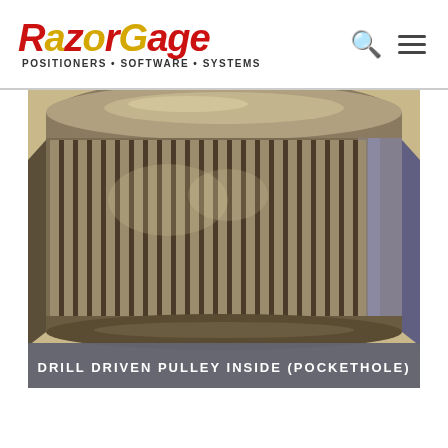RazorGage — Positioners • Software • Systems
[Figure (photo): Close-up photograph of a toothed/ribbed metal pulley (timing pulley) used in a drill-driven pockethole system. The pulley is circular with many longitudinal ribs/teeth on its outer surface, and a flat top flange. The metal appears aged/dirty. Below the photo a dark semi-transparent caption bar reads: DRILL DRIVEN PULLEY INSIDE (POCKETHOLE).]
DRILL DRIVEN PULLEY INSIDE (POCKETHOLE)